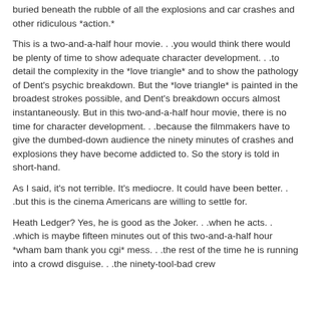buried beneath the rubble of all the explosions and car crashes and other ridiculous *action.*
This is a two-and-a-half hour movie. . .you would think there would be plenty of time to show adequate character development. . .to detail the complexity in the *love triangle* and to show the pathology of Dent's psychic breakdown. But the *love triangle* is painted in the broadest strokes possible, and Dent's breakdown occurs almost instantaneously. But in this two-and-a-half hour movie, there is no time for character development. . .because the filmmakers have to give the dumbed-down audience the ninety minutes of crashes and explosions they have become addicted to. So the story is told in short-hand.
As I said, it's not terrible. It's mediocre. It could have been better. . .but this is the cinema Americans are willing to settle for.
Heath Ledger? Yes, he is good as the Joker. . .when he acts. . .which is maybe fifteen minutes out of this two-and-a-half hour *wham bam thank you cgi* mess. . .the rest of the time he is running into a crowd disguise. . .the ninety-tool-bad crew